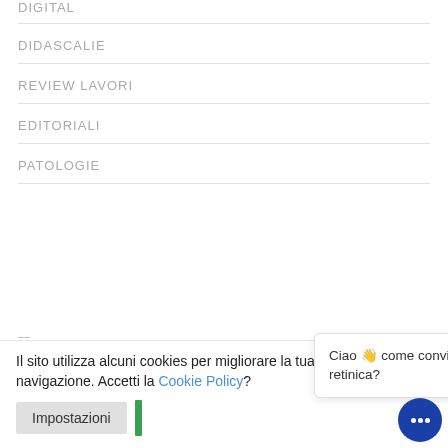DIGITAL
DIDASCALIE
REVIEW LAVORI
EDITORIALI
PATOLOGIE
Il sito utilizza alcuni cookies per migliorare la tua esperienza di navigazione. Accetti la Cookie Policy?
Impostazioni
Ciao 👋 come convivi con la tua patologia retinica?